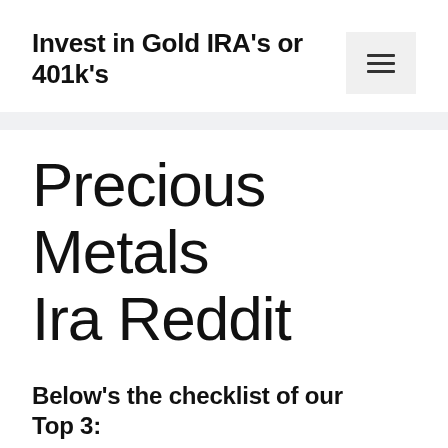Invest in Gold IRA's or 401k's
Precious Metals Ira Reddit
Below’s the checklist of our Top 3: